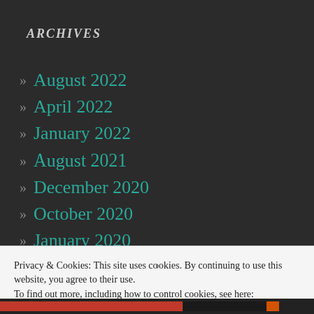ARCHIVES
» August 2022
» April 2022
» January 2022
» August 2021
» December 2020
» October 2020
» January 2020
» December 2019
Privacy & Cookies: This site uses cookies. By continuing to use this website, you agree to their use.
To find out more, including how to control cookies, see here: Cookie Policy